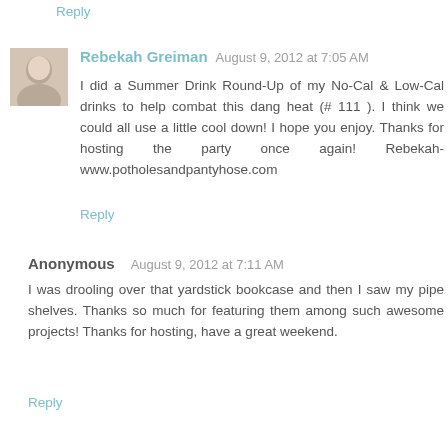Reply
Rebekah Greiman  August 9, 2012 at 7:05 AM
I did a Summer Drink Round-Up of my No-Cal & Low-Cal drinks to help combat this dang heat (# 111 ). I think we could all use a little cool down! I hope you enjoy. Thanks for hosting the party once again! Rebekah-www.potholesandpantyhose.com
Reply
Anonymous  August 9, 2012 at 7:11 AM
I was drooling over that yardstick bookcase and then I saw my pipe shelves. Thanks so much for featuring them among such awesome projects! Thanks for hosting, have a great weekend.
Reply